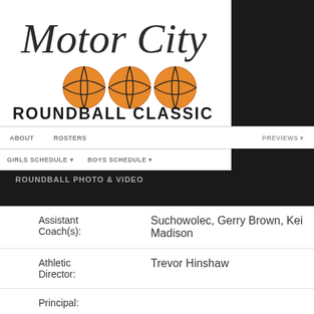[Figure (logo): Motor City Roundball Classic logo with cursive text and basketball imagery]
ABOUT | ROSTERS | PREVIEWS
GIRLS SCHEDULE | BOYS SCHEDULE
ROUNDBALL PHOTO & VIDEO
| Field | Value |
| --- | --- |
| Assistant Coach(s): | Suchowolec, Gerry Brown, Kei Madison |
| Athletic Director: | Trevor Hinshaw |
| Principal: |  |
| Mascot: |  |